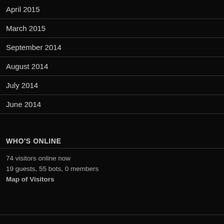April 2015
March 2015
September 2014
August 2014
July 2014
June 2014
WHO'S ONLINE
74 visitors online now
19 guests, 55 bots, 0 members
Map of Visitors